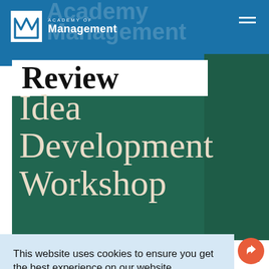[Figure (screenshot): Academy of Management Review website screenshot showing the journal header with logo, navigation, and an Idea Development Workshop promotional cover image in teal/green with serif typography.]
This website uses cookies to ensure you get the best experience on our website.
Learn more
Got it!